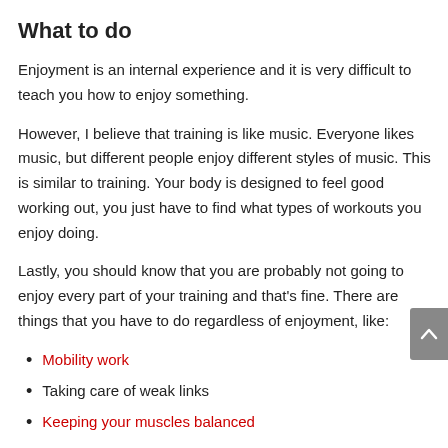What to do
Enjoyment is an internal experience and it is very difficult to teach you how to enjoy something.
However, I believe that training is like music. Everyone likes music, but different people enjoy different styles of music. This is similar to training. Your body is designed to feel good working out, you just have to find what types of workouts you enjoy doing.
Lastly, you should know that you are probably not going to enjoy every part of your training and that's fine. There are things that you have to do regardless of enjoyment, like:
Mobility work
Taking care of weak links
Keeping your muscles balanced